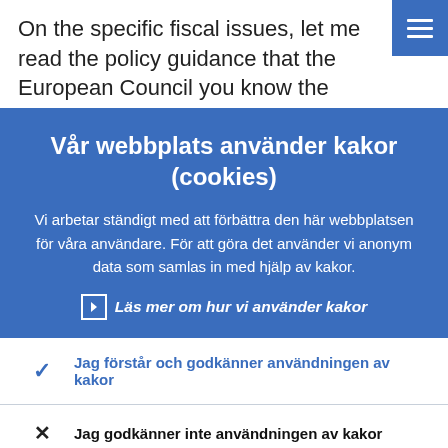On the specific fiscal issues, let me read the policy guidance that the European Council you know the European Council is formed
Vår webbplats använder kakor (cookies)
Vi arbetar ständigt med att förbättra den här webbplatsen för våra användare. För att göra det använder vi anonym data som samlas in med hjälp av kakor.
Läs mer om hur vi använder kakor
Jag förstår och godkänner användningen av kakor
Jag godkänner inte användningen av kakor